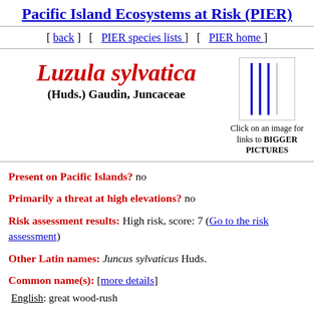Pacific Island Ecosystems at Risk (PIER)
[ back ]  [  PIER species lists  ]  [  PIER home  ]
Luzula sylvatica (Huds.) Gaudin, Juncaceae
[Figure (illustration): Placeholder image box with vertical blue lines, with caption: Click on an image for links to BIGGER PICTURES]
Present on Pacific Islands?  no
Primarily a threat at high elevations?  no
Risk assessment results:  High risk, score: 7 (Go to the risk assessment)
Other Latin names:  Juncus sylvaticus Huds.
Common name(s): [more details]
English: great wood-rush